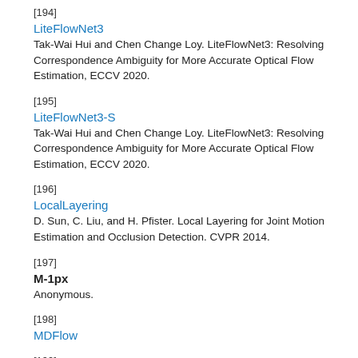[194]
LiteFlowNet3
Tak-Wai Hui and Chen Change Loy. LiteFlowNet3: Resolving Correspondence Ambiguity for More Accurate Optical Flow Estimation, ECCV 2020.
[195]
LiteFlowNet3-S
Tak-Wai Hui and Chen Change Loy. LiteFlowNet3: Resolving Correspondence Ambiguity for More Accurate Optical Flow Estimation, ECCV 2020.
[196]
LocalLayering
D. Sun, C. Liu, and H. Pfister. Local Layering for Joint Motion Estimation and Occlusion Detection. CVPR 2014.
[197]
M-1px
Anonymous.
[198]
MDFlow
[199]